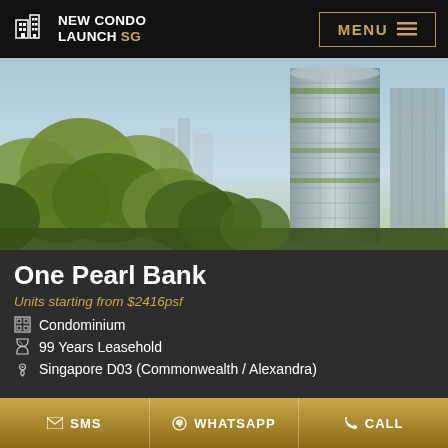New Condo Launch SG  MENU
[Figure (photo): Architectural rendering of One Pearl Bank — a tall cylindrical residential tower with lush green trees in the foreground and a city skyline in the background]
One Pearl Bank
Units starting from $2416psf
Condominium
99 Years Leasehold
Singapore D03 (Commonwealth / Alexandra)
SMS   WHATSAPP   CALL